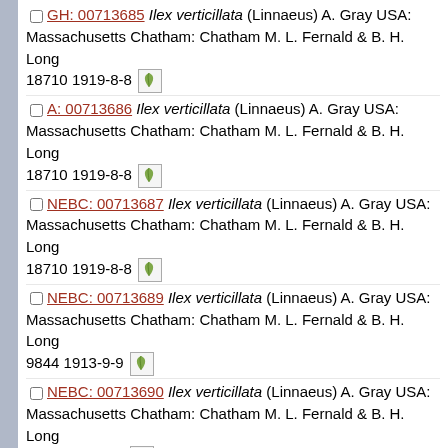GH: 00713685 Ilex verticillata (Linnaeus) A. Gray USA: Massachusetts Chatham: Chatham M. L. Fernald & B. H. Long 18710 1919-8-8
A: 00713686 Ilex verticillata (Linnaeus) A. Gray USA: Massachusetts Chatham: Chatham M. L. Fernald & B. H. Long 18710 1919-8-8
NEBC: 00713687 Ilex verticillata (Linnaeus) A. Gray USA: Massachusetts Chatham: Chatham M. L. Fernald & B. H. Long 18710 1919-8-8
NEBC: 00713689 Ilex verticillata (Linnaeus) A. Gray USA: Massachusetts Chatham: Chatham M. L. Fernald & B. H. Long 9844 1913-9-9
NEBC: 00713690 Ilex verticillata (Linnaeus) A. Gray USA: Massachusetts Chatham: Chatham M. L. Fernald & B. H. Long 9848 1913-9-9
NEBC: 00713691 Ilex verticillata (Linnaeus) A. Gray USA: Massachusetts Chatham: Chatham M. L. Fernald & B. H. Long 18715 1919-8-14
NEBC: 00713692 Ilex verticillata (Linnaeus) A. Gray USA: